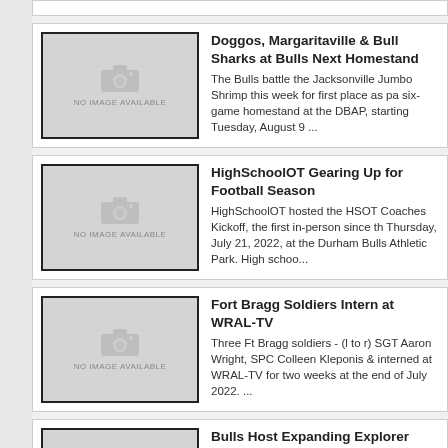Doggos, Margaritaville & Bull Sharks at Bulls Next Homestand — The Bulls battle the Jacksonville Jumbo Shrimp this week for first place as pa six-game homestand at the DBAP, starting Tuesday, August 9 ...
HighSchoolOT Gearing Up for Football Season — HighSchoolOT hosted the HSOT Coaches Kickoff, the first in-person since th Thursday, July 21, 2022, at the Durham Bulls Athletic Park. High schoo...
Fort Bragg Soldiers Intern at WRAL-TV — Three Ft Bragg soldiers - (l to r) SGT Aaron Wright, SPC Colleen Kleponis & interned at WRAL-TV for two weeks at the end of July 2022. ...
Bulls Host Expanding Explorer Event to Share Value of Program — Corp's Jim Goodmon (back left) hosted local executives from different compa Exploring event in the CBC Suite at the Durham Bulls Athlet...
CBC Sponsors Chuck Stone Summer Program for High School S — The 2022 Scholars for the Chuck Stone Program for Diversity in Education & Capitol Broadcasting Company once again proudly sponsored a learning...
CBC Sponsors Chuck Stone Summer Program for High School S Journalism School — The 2022 Scholars for the Chuck Stone Program for Diversity in Education &
The Making of a Miracle